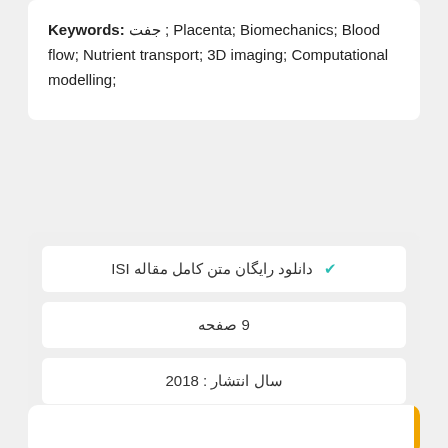Keywords: جفت ; Placenta; Biomechanics; Blood flow; Nutrient transport; 3D imaging; Computational modelling;
✓ دانلود رایگان متن کامل مقاله ISI
9 صفحه
سال انتشار : 2018
✓ سفارش ترجمه